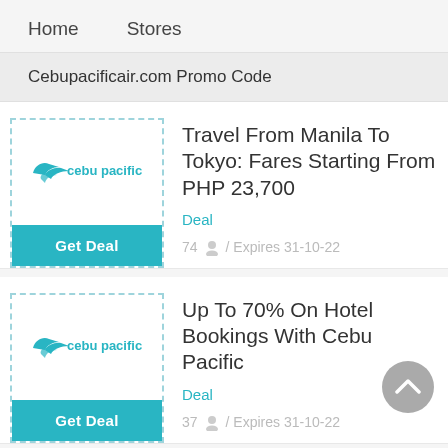Home   Stores
Cebupacificair.com Promo Code
[Figure (logo): Cebu Pacific airline logo with wings icon and 'cebu pacific' text in teal]
Get Deal
Travel From Manila To Tokyo: Fares Starting From PHP 23,700
Deal
74 / Expires 31-10-22
[Figure (logo): Cebu Pacific airline logo with wings icon and 'cebu pacific' text in teal]
Get Deal
Up To 70% On Hotel Bookings With Cebu Pacific
Deal
37 / Expires 31-10-22